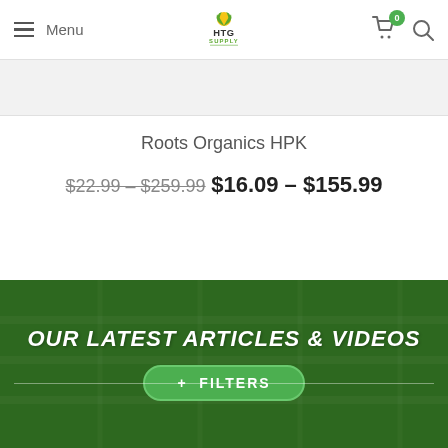Menu | HTG SUPPLY | Cart (0) | Search
Roots Organics HPK
$22.99 – $259.99 $16.09 – $155.99
OUR LATEST ARTICLES & VIDEOS
+ FILTERS